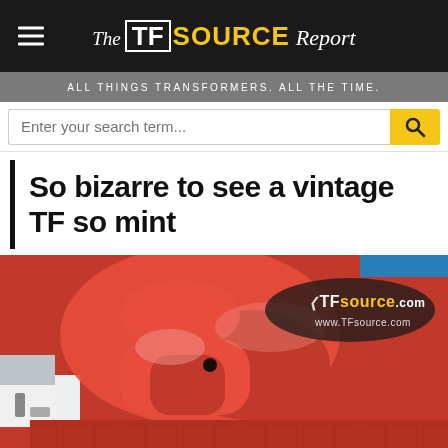The TFsource Report — ALL THINGS TRANSFORMERS. ALL THE TIME.
So bizarre to see a vintage TF so mint
[Figure (photo): Close-up photograph of a vintage Transformers toy (red and white plastic parts) still in mint condition, with a TFsource.com watermark logo visible in the upper right area of the image, and a grid/tile pattern visible in the lower portion.]